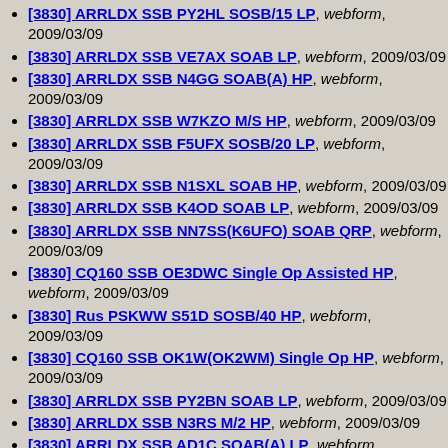[3830] ARRLDX SSB PY2HL SOSB/15 LP, webform, 2009/03/09
[3830] ARRLDX SSB VE7AX SOAB LP, webform, 2009/03/09
[3830] ARRLDX SSB N4GG SOAB(A) HP, webform, 2009/03/09
[3830] ARRLDX SSB W7KZO M/S HP, webform, 2009/03/09
[3830] ARRLDX SSB F5UFX SOSB/20 LP, webform, 2009/03/09
[3830] ARRLDX SSB N1SXL SOAB HP, webform, 2009/03/09
[3830] ARRLDX SSB K4OD SOAB LP, webform, 2009/03/09
[3830] ARRLDX SSB NN7SS(K6UFO) SOAB QRP, webform, 2009/03/09
[3830] CQ160 SSB OE3DWC Single Op Assisted HP, webform, 2009/03/09
[3830] Rus PSKWW S51D SOSB/40 HP, webform, 2009/03/09
[3830] CQ160 SSB OK1W(OK2WM) Single Op HP, webform, 2009/03/09
[3830] ARRLDX SSB PY2BN SOAB LP, webform, 2009/03/09
[3830] ARRLDX SSB N3RS M/2 HP, webform, 2009/03/09
[3830] ARRLDX SSB AD1C SOAB(A) LP, webform, 2009/03/09